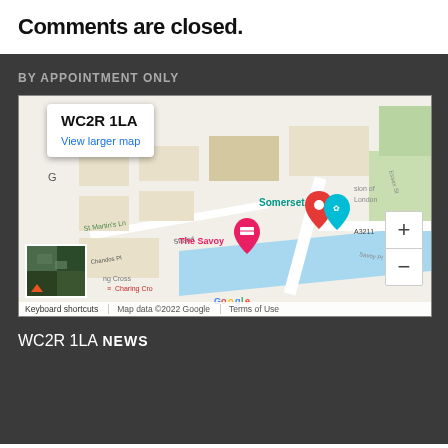Comments are closed.
BY APPOINTMENT ONLY
[Figure (map): Google Map showing WC2R 1LA area in London, with markers for Somerset House and The Savoy hotel, showing the Thames river, Strand, Charing Cross station area, and zoom controls.]
WC2R 1LA
NEWS